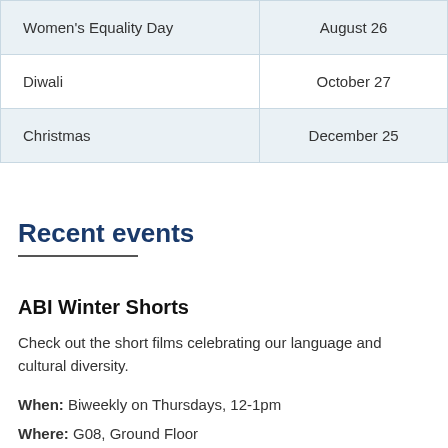| Women's Equality Day | August 26 |
| Diwali | October 27 |
| Christmas | December 25 |
Recent events
ABI Winter Shorts
Check out the short films celebrating our language and cultural diversity.
When: Biweekly on Thursdays, 12-1pm
Where: G08, Ground Floor